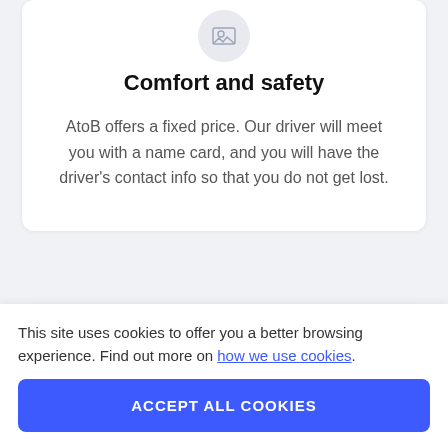[Figure (illustration): Small image placeholder icon in a light circular background]
Comfort and safety
AtoB offers a fixed price. Our driver will meet you with a name card, and you will have the driver’s contact info so that you do not get lost.
[Figure (other): Partially visible second card with blurred/obscured text in a light blue rounded rectangle]
This site uses cookies to offer you a better browsing experience. Find out more on how we use cookies.
ACCEPT ALL COOKIES